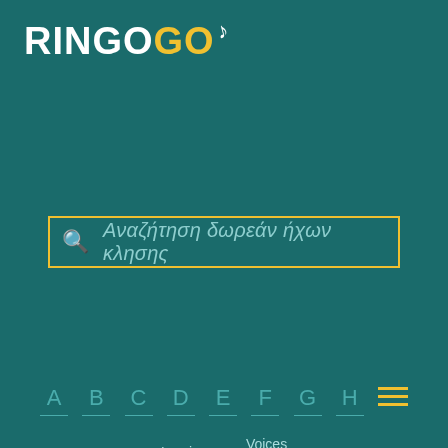RINGOGO
Αναζήτηση δωρεάν ήχων κλησης
→ Κύρια → L → Laurie Anderson → Voices on Tape
Κατεβάστε δωρεάν Laurie Anderson-Voices on Tape ήχου κλήση
A B C D E F G H ≡